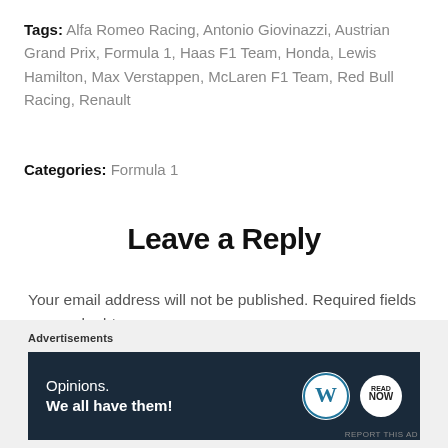Tags: Alfa Romeo Racing, Antonio Giovinazzi, Austrian Grand Prix, Formula 1, Haas F1 Team, Honda, Lewis Hamilton, Max Verstappen, McLaren F1 Team, Red Bull Racing, Renault
Categories: Formula 1
Leave a Reply
Your email address will not be published. Required fields are marked *
Comment *
[Figure (screenshot): Advertisement banner: dark navy background with text 'Opinions. We all have them!' and WordPress and NOW logos]
Advertisements